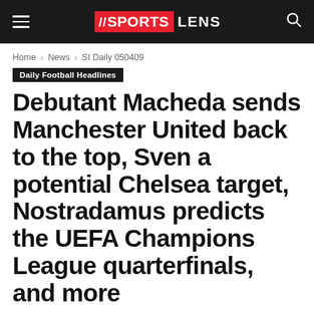SPORTS LENS
Home › News › SI Daily 050409
Daily Football Headlines
Debutant Macheda sends Manchester United back to the top, Sven a potential Chelsea target, Nostradamus predicts the UEFA Champions League quarterfinals, and more
Disclosure
Updated 11 years ago on 20 February, 2012